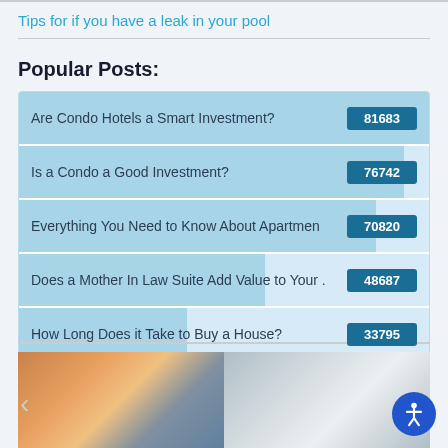Tips for if you have a leak in your pool
Popular Posts:
[Figure (bar-chart): Popular Posts]
[Figure (photo): Two modern houses side by side - one with warm sunset lighting and one with a grey daytime exterior]